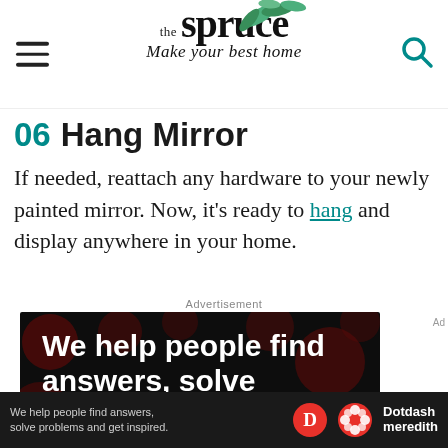the spruce — Make your best home
06 Hang Mirror
If needed, reattach any hardware to your newly painted mirror. Now, it's ready to hang and display anywhere in your home.
Advertisement
[Figure (infographic): Dotdash Meredith advertisement on dark background with red polka dots pattern. Large white bold text reads: We help people find answers, solve problems and get inspired. Red period at end. LEARN MORE with red arrow below.]
We help people find answers, solve problems and get inspired.